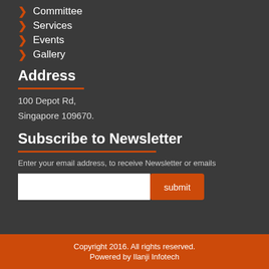Committee
Services
Events
Gallery
Address
100 Depot Rd,
Singapore 109670.
Subscribe to Newsletter
Enter your email address, to receive Newsletter or emails
Copyright 2016. All rights reserved. Powered by Ilanji Infotech